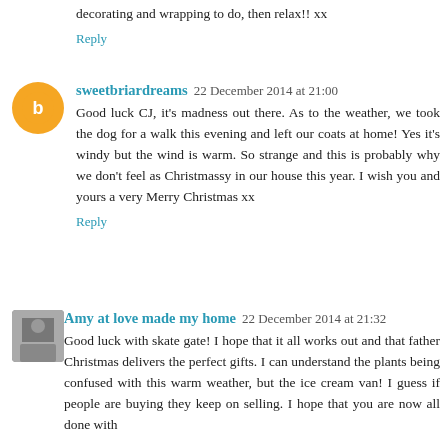decorating and wrapping to do, then relax!! xx
Reply
sweetbriardreams  22 December 2014 at 21:00
Good luck CJ, it's madness out there. As to the weather, we took the dog for a walk this evening and left our coats at home! Yes it's windy but the wind is warm. So strange and this is probably why we don't feel as Christmassy in our house this year. I wish you and yours a very Merry Christmas xx
Reply
Amy at love made my home  22 December 2014 at 21:32
Good luck with skate gate! I hope that it all works out and that father Christmas delivers the perfect gifts. I can understand the plants being confused with this warm weather, but the ice cream van! I guess if people are buying they keep on selling. I hope that you are now all done with